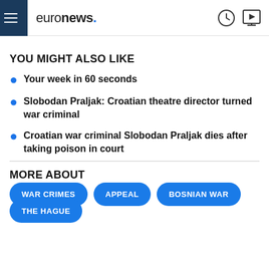euronews.
YOU MIGHT ALSO LIKE
Your week in 60 seconds
Slobodan Praljak: Croatian theatre director turned war criminal
Croatian war criminal Slobodan Praljak dies after taking poison in court
MORE ABOUT
WAR CRIMES
APPEAL
BOSNIAN WAR
THE HAGUE